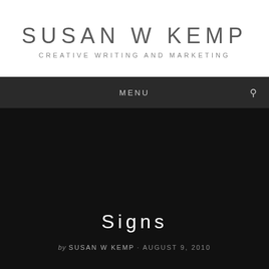SUSAN W KEMP
CREATIVE WRITING AND MARKETING
MENU
Signs
by SUSAN W KEMP · AUGUST 9, 2010